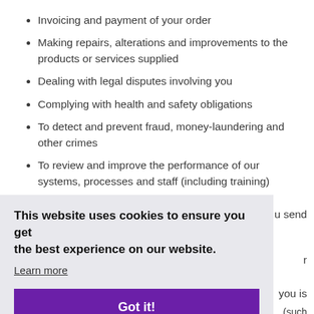Invoicing and payment of your order
Making repairs, alterations and improvements to the products or services supplied
Dealing with legal disputes involving you
Complying with health and safety obligations
To detect and prevent fraud, money-laundering and other crimes
To review and improve the performance of our systems, processes and staff (including training)
u send
r
you is
(such
piracy
This website uses cookies to ensure you get the best experience on our website. Learn more Got it!